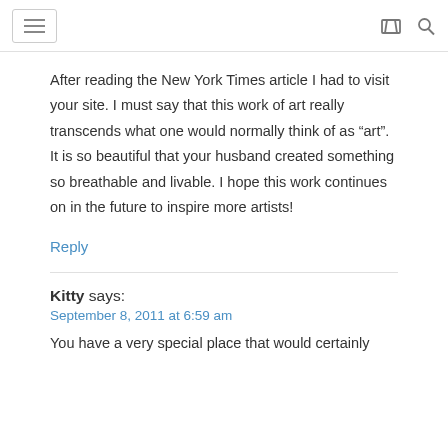[hamburger menu] [cart icon] [search icon]
After reading the New York Times article I had to visit your site. I must say that this work of art really transcends what one would normally think of as “art”. It is so beautiful that your husband created something so breathable and livable. I hope this work continues on in the future to inspire more artists!
Reply
Kitty says:
September 8, 2011 at 6:59 am
You have a very special place that would certainly